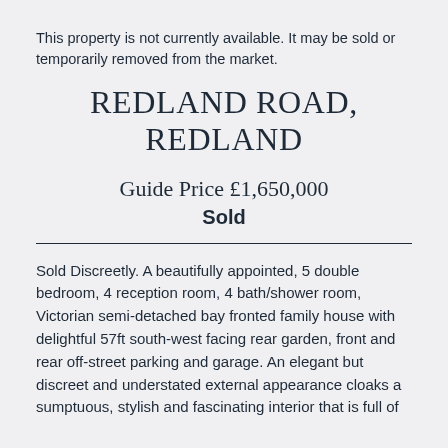This property is not currently available. It may be sold or temporarily removed from the market.
REDLAND ROAD, REDLAND
Guide Price £1,650,000
Sold
Sold Discreetly. A beautifully appointed, 5 double bedroom, 4 reception room, 4 bath/shower room, Victorian semi-detached bay fronted family house with delightful 57ft south-west facing rear garden, front and rear off-street parking and garage. An elegant but discreet and understated external appearance cloaks a sumptuous, stylish and fascinating interior that is full of